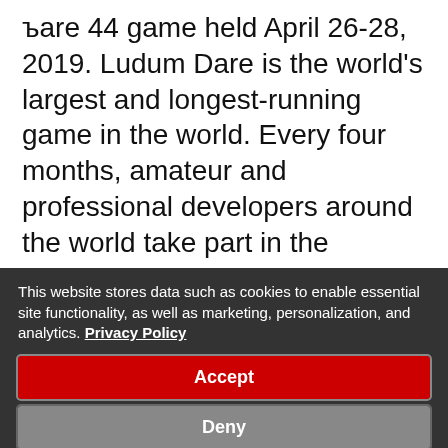Dare 44 game held April 26-28, 2019. Ludum Dare is the world's largest and longest-running game in the world. Every four months, amateur and professional developers around the world take part in the marathon event to create a game in 3 days. As an
This website stores data such as cookies to enable essential site functionality, as well as marketing, personalization, and analytics. Privacy Policy
Accept
Deny